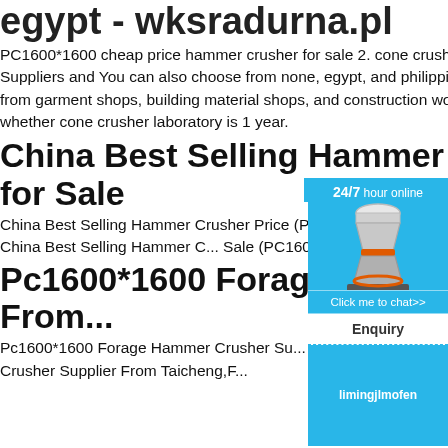egypt - wksradurna.pl
PC1600*1600 cheap price hammer crusher for sale 2. cone crusher laboratory, cone crusher laboratory Suppliers and You can also choose from none, egypt, and philippines cone crusher laboratory, as well as from garment shops, building material shops, and construction works cone crusher laboratory, and whether cone crusher laboratory is 1 year.
China Best Selling Hammer Crusher Price for Sale
China Best Selling Hammer Crusher Price (PC1600*1600), Find details about China Crusher from China Best Selling Hammer C... Sale (PC1600*1600) - Machinery Factory C...
Pc1600*1600 Forage Hammer Crusher Supplier From
Pc1600*1600 Forage Hammer Crusher Su... Taicheng , Find Complete Details about Pc... Hammer Crusher Supplier From Taicheng,F...
[Figure (illustration): Chat widget with 24/7 hour online label, crusher machine image, Click me to chat button, Enquiry section, and limingjlmofen label on cyan/blue background]